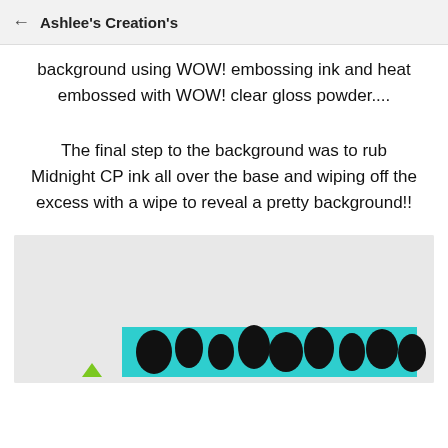Ashlee's Creation's
background using WOW! embossing ink and heat embossed with WOW! clear gloss powder....
The final step to the background was to rub Midnight CP ink all over the base and wiping off the excess with a wipe to reveal a pretty background!!
[Figure (photo): Partial photo showing a light grey/white background with a small green triangle shape on the left and a horizontal strip of teal/turquoise and black patterned decorative tape or ribbon running across the lower portion of the image.]